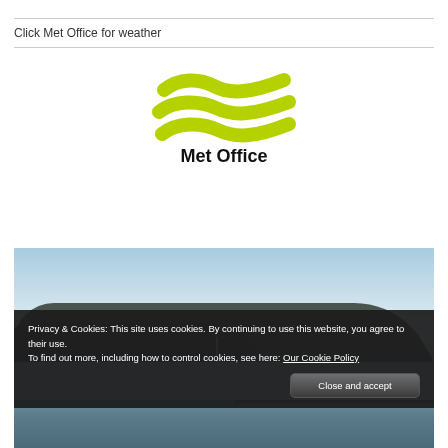Click Met Office for weather
[Figure (logo): Met Office logo with green wave lines above the text 'Met Office']
[Figure (photo): Landscape photo showing hills or moorland partially covered by low cloud or mist, with a lighthouse or tower visible above the mist layer, under a hazy sky]
Privacy & Cookies: This site uses cookies. By continuing to use this website, you agree to their use.
To find out more, including how to control cookies, see here: Our Cookie Policy
Close and accept